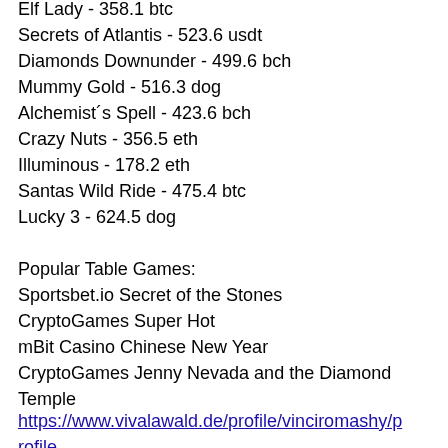Elf Lady - 358.1 btc
Secrets of Atlantis - 523.6 usdt
Diamonds Downunder - 499.6 bch
Mummy Gold - 516.3 dog
Alchemist´s Spell - 423.6 bch
Crazy Nuts - 356.5 eth
Illuminous - 178.2 eth
Santas Wild Ride - 475.4 btc
Lucky 3 - 624.5 dog
Popular Table Games:
Sportsbet.io Secret of the Stones
CryptoGames Super Hot
mBit Casino Chinese New Year
CryptoGames Jenny Nevada and the Diamond Temple
https://www.vivalawald.de/profile/vinciromashy/profile
https://www.lc200.info/profile/nigonjerkinb/profile